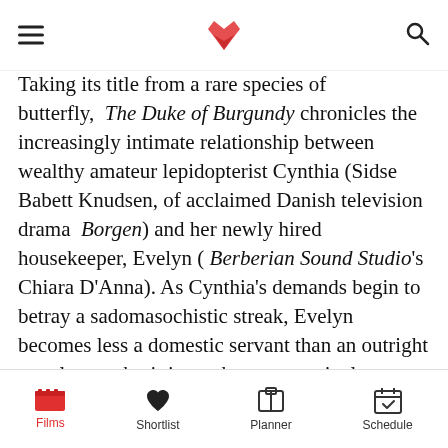Vudu (logo)
Taking its title from a rare species of butterfly, The Duke of Burgundy chronicles the increasingly intimate relationship between wealthy amateur lepidopterist Cynthia (Sidse Babett Knudsen, of acclaimed Danish television drama Borgen) and her newly hired housekeeper, Evelyn ( Berberian Sound Studio's Chiara D'Anna). As Cynthia's demands begin to betray a sadomasochistic streak, Evelyn becomes less a domestic servant than an outright sex slave, submitting to her progressively extreme humiliations with a surprising relish.

In another director's hands, this material might easily have tipped into the schlocky or the severe.
Films | Shortlist | Planner | Schedule